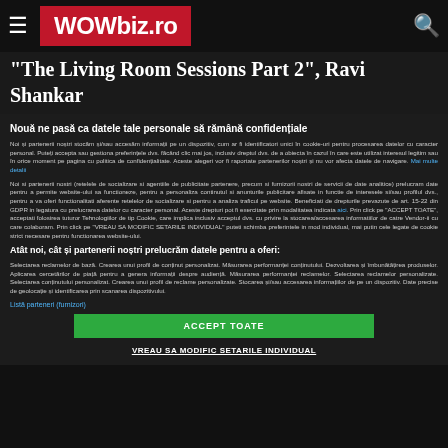WOWbiz.ro
"The Living Room Sessions Part 2", Ravi Shankar
Nouă ne pasă ca datele tale personale să rămână confidențiale
Noi și partenerii noștri stocăm și/sau accesăm informații pe un dispozitiv, cum ar fi identificatori unici în cookie-uri pentru procesarea datelor cu caracter personal. Puteți accepta sau gestiona preferințele dvs. făcând clic mai jos, inclusiv dreptul dvs. de a obiecta în cazul în care este utilizat interesul legitim sau în orice moment pe pagina cu politica de confidențialitate. Aceste alegeri vor fi raportate partenerilor noștri și nu vor afecta datele de navigare. Mai multe detalii
Noi si partenerii nostri (retelele de socializare si agentiile de publicitate partenere, precum si furnizorii nostri de servicii de date analitice) prelucram date pentru a permite website-ului sa functioneze, pentru a personaliza continutul si anunturile publicitare afisate in functie de interesele si/sau profilul dvs., pentru a va oferi functionalitati aferente retelelor de socializare si pentru a analiza traficul pe website. Beneficiati de drepturile prevazute de art. 15-22 din GDPR in legatura cu prelucrarea datelor cu caracter personal. Aceste drepturi pot fi exercitate prin modalitatea indicata aici. Prin click pe "ACCEPT TOATE", acceptati folosirea tuturor Tehnologiilor de tip Cookie, care implica inclusiv acceptul dvs. cu privire la stocarea/accesarea informatiilor de catre Vendor-ii cu care colaboram. Prin click pe "VREAU SA MODIFIC SETARILE INDIVIDUAL" puteti schimba preferintele in mod individual, mai putin cele legate de cookie strict necesare pentru functionarea website-ului.
Atât noi, cât și partenerii noștri prelucrăm datele pentru a oferi:
Selectarea reclamelor de bază. Crearea unui profil de conținut personalizat. Măsurarea performanței conținutului. Dezvoltarea și îmbunătățirea produselor. Aplicarea cercetărilor de piață pentru a genera informații despre audiență. Măsurarea performanței reclamelor. Selectarea reclamelor personalizate. Selectarea conținutului personalizat. Crearea unui profil de reclame personalizate. Stocarea și/sau accesarea informațiilor de pe un dispozitiv. Date precise de geolocație și identificarea prin scanarea dispozitivului.
Listă parteneri (furnizori)
ACCEPT TOATE
VREAU SA MODIFIC SETARILE INDIVIDUAL